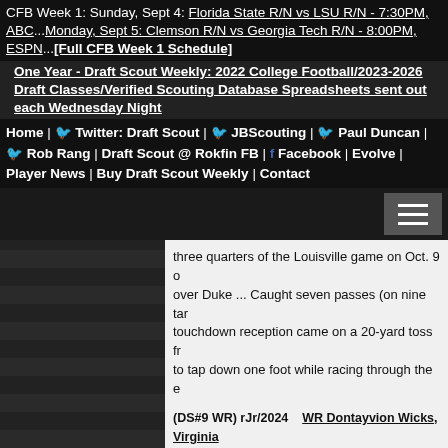CFB Week 1: Sunday, Sept 4: Florida State R/N vs LSU R/N - 7:30PM, ABC...Monday, Sept 5: Clemson R/N vs Georgia Tech R/N - 8:00PM, ESPN...**[Full CFB Week 1 Schedule]**
**One Year - Draft Scout Weekly: 2022 College Football/2023-2026 Draft Classes/Verified Scouting Database Spreadsheets sent out each Wednesday Night**
Home | Twitter: Draft Scout | JBScouting | Paul Duncan | Rob Rang | Draft Scout @ Rokfin FB | Facebook | Evolve | Player News | Buy Draft Scout Weekly | Contact
three quarters of the Louisville game on Oct. 9 over Duke ... Caught seven passes (on nine tar touchdown reception came on a 20-yard toss fr to tap down one foot while racing through the e
(DS#9 WR) rJr/2024    WR Dontayvion Wicks, Virginia
News Source: ACC Football
Share/Comment/External News Feed: Here
08/16/21 - WR Dontayvion Wicks, rJr/2024, Virgi
Marques Hagans see Dontayvion Wicks as an has just three catches in his college career, the 2020 due to injury, Wicks is fully healthy, and he backs with smooth route running and effortless ability that he has,' Hagans, UVa's wide receive